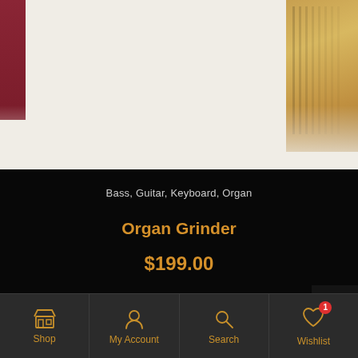[Figure (photo): Product photo of an instrument (possibly an organ/accordion) with dark red and wood-toned elements against a light background]
Bass, Guitar, Keyboard, Organ
Organ Grinder
$199.00
Add To Cart
Shop | My Account | Search | Wishlist